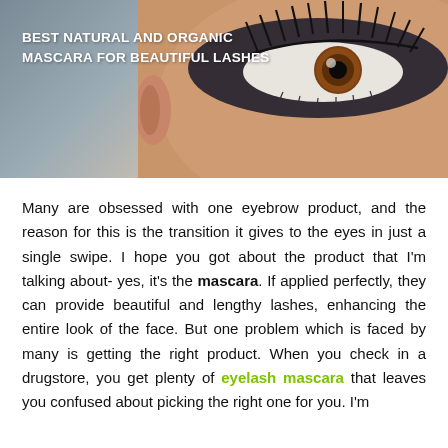[Figure (photo): Close-up photo of a woman's eye with dramatic mascara and eyelashes on a grey/skin-tone background, with overlaid text reading 'BEST NATURAL AND ORGANIC MASCARA FOR BEAUTIFUL LASHES']
Many are obsessed with one eyebrow product, and the reason for this is the transition it gives to the eyes in just a single swipe. I hope you got about the product that I'm talking about- yes, it's the mascara. If applied perfectly, they can provide beautiful and lengthy lashes, enhancing the entire look of the face. But one problem which is faced by many is getting the right product. When you check in a drugstore, you get plenty of eyelash mascara that leaves you confused about picking the right one for you. I'm